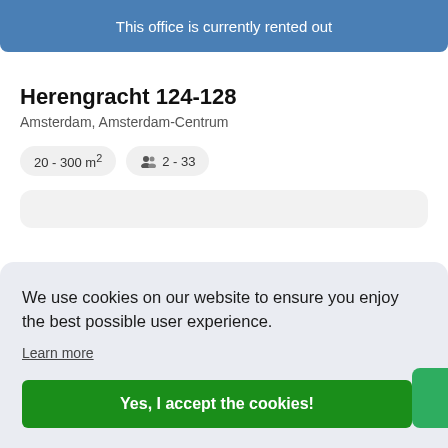This office is currently rented out
Herengracht 124-128
Amsterdam, Amsterdam-Centrum
20 - 300 m²  👥 2 - 33
We use cookies on our website to ensure you enjoy the best possible user experience.
Learn more
Yes, I accept the cookies!